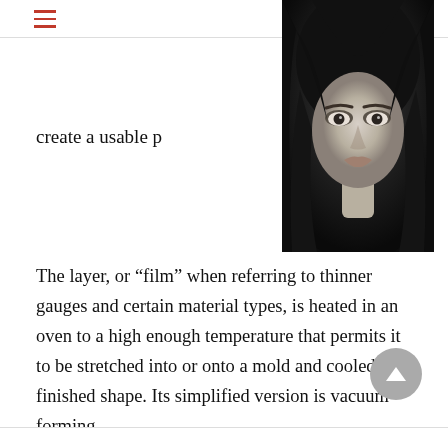[Figure (photo): Black and white close-up portrait photo of a young woman with long dark hair, direct gaze toward camera, dramatic dark background.]
create a usable p
The layer, or “film” when referring to thinner gauges and certain material types, is heated in an oven to a high enough temperature that permits it to be stretched into or onto a mold and cooled to a finished shape. Its simplified version is vacuum forming.
Do You Need Thermoform Solutions?